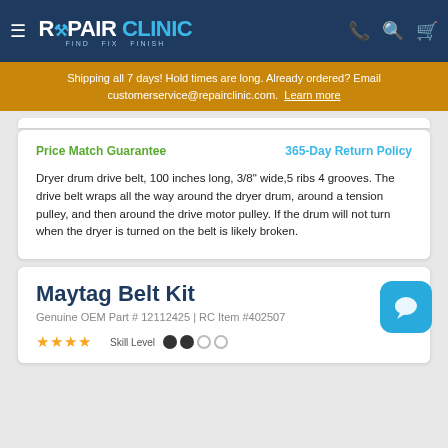REPAIR CLINIC — FIND. FIX. FINISH.
Shipping all 7 days! Hold times are long. Already ordered? Email customerservice@repairclinic.com. Learn more
Price Match Guarantee | 365-Day Return Policy
Dryer drum drive belt, 100 inches long, 3/8" wide,5 ribs 4 grooves. The drive belt wraps all the way around the dryer drum, around a tension pulley, and then around the drive motor pulley. If the drum will not turn when the dryer is turned on the belt is likely broken.
Maytag Belt Kit
Genuine OEM Part # 12112425 | RC Item #402507
Skill Level